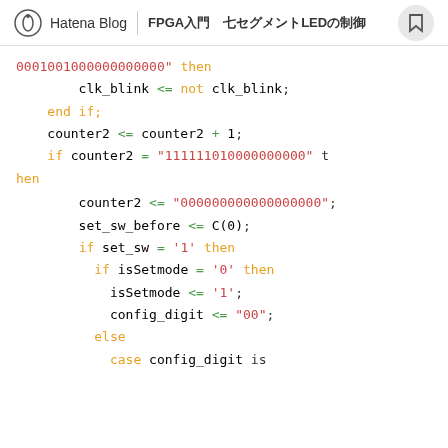Hatena Blog | FPGA入門　七セグメントLEDの制御
[Figure (screenshot): VHDL source code snippet showing counter and state logic with keywords highlighted in orange, string literals in red, operators in green, and identifiers in dark gray]